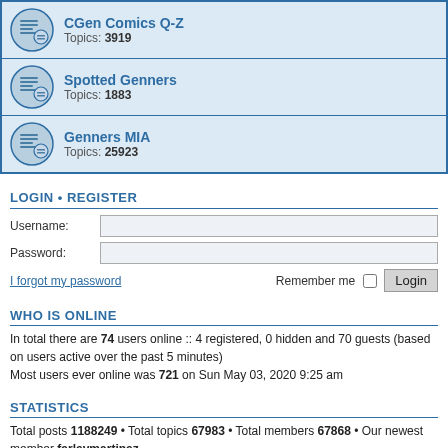CGen Comics Q-Z
Topics: 3919
Spotted Genners
Topics: 1883
Genners MIA
Topics: 25923
LOGIN • REGISTER
Username:
Password:
I forgot my password
Remember me  Login
WHO IS ONLINE
In total there are 74 users online :: 4 registered, 0 hidden and 70 guests (based on users active over the past 5 minutes)
Most users ever online was 721 on Sun May 03, 2020 9:25 am
STATISTICS
Total posts 1188249 • Total topics 67983 • Total members 67868 • Our newest member farleymartinez
Home · Board index   All times are UTC-08:00
Powered by phpBB® Forum Software © phpBB Limited